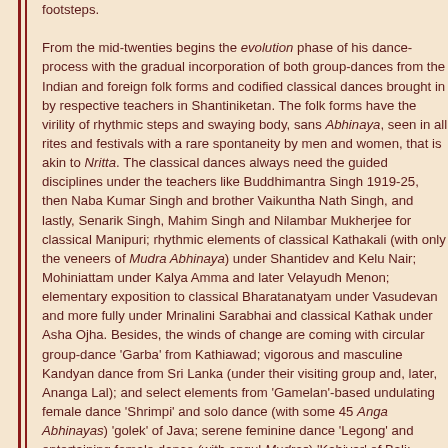footsteps.

From the mid-twenties begins the evolution phase of his dance-process with the gradual incorporation of both group-dances from the Indian and foreign folk forms and codified classical dances brought in by respective teachers in Shantiniketan. The folk forms have the virility of rhythmic steps and swaying body, sans Abhinaya, seen in all rites and festivals with a rare spontaneity by men and women, that is akin to Nritta. The classical dances always need the guided disciplines under the teachers like Buddhimantra Singh 1919-25, then Naba Kumar Singh and brother Vaikuntha Nath Singh, and lastly, Senarik Singh, Mahim Singh and Nilambar Mukherjee for classical Manipuri; rhythmic elements of classical Kathakali (with only the veneers of Mudra Abhinaya) under Shantidev and Kelu Nair; Mohiniattam under Kalya Amma and later Velayudh Menon; elementary exposition to classical Bharatanatyam under Vasudevan and more fully under Mrinalini Sarabhai and classical Kathak under Asha Ojha. Besides, the winds of change are coming with circular group-dance 'Garba' from Kathiawad; vigorous and masculine Kandyan dance from Sri Lanka (under their visiting group and, later, Ananga Lal); and select elements from 'Gamelan'-based undulating female dance 'Shrimpi' and solo dance (with some 45 Anga Abhinayas) 'golek' of Java; serene feminine dance 'Legong' and entertaining female dance (with angul Mudras) 'Kabiyar' of Bali; Siamese dance –akin to Bharatanatyam -- of Cambodia; and ritual 'Poye'